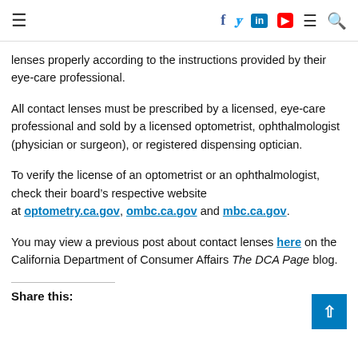≡  f  𝕏  in  ▶  ≡  🔍
lenses properly according to the instructions provided by their eye-care professional.
All contact lenses must be prescribed by a licensed, eye-care professional and sold by a licensed optometrist, ophthalmologist (physician or surgeon), or registered dispensing optician.
To verify the license of an optometrist or an ophthalmologist, check their board's respective website at optometry.ca.gov, ombc.ca.gov and mbc.ca.gov.
You may view a previous post about contact lenses here on the California Department of Consumer Affairs The DCA Page blog.
Share this: